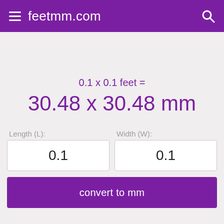feetmm.com
0.1 x 0.1 feet =
30.48 x 30.48 mm
Length (L):
0.1
Width (W):
0.1
convert to mm